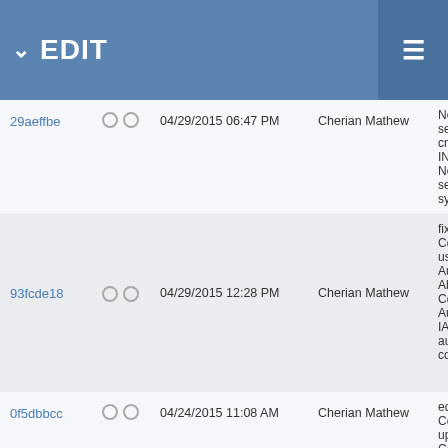EDIT
| ID |  | Date | Author | Description |
| --- | --- | --- | --- | --- |
| 29aeffbe | ○ ○ | 04/29/2015 06:47 PM | Cherian Mathew | NewT secon creati INewT NewT separ synon |
| 93fcde18 | ○ ○ | 04/29/2015 12:28 PM | Cherian Mathew | fix for CdmV used t Authe Abstr CdmV Authe IAuth authe conte: |
| 0f5dbbcc | ○ ○ | 04/24/2015 11:08 AM | Cherian Mathew | edit/st Conce updat Conce for co EditCo |